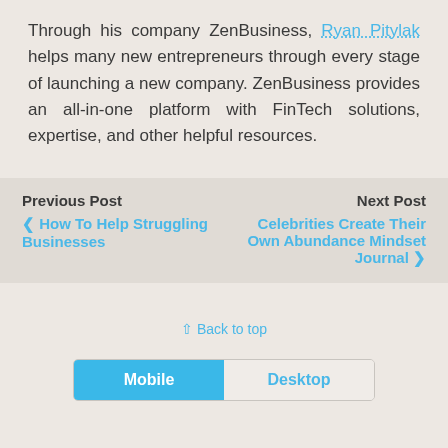Through his company ZenBusiness, Ryan Pitylak helps many new entrepreneurs through every stage of launching a new company. ZenBusiness provides an all-in-one platform with FinTech solutions, expertise, and other helpful resources.
Previous Post
< How To Help Struggling Businesses
Next Post
Celebrities Create Their Own Abundance Mindset Journal >
⇧ Back to top
Mobile | Desktop